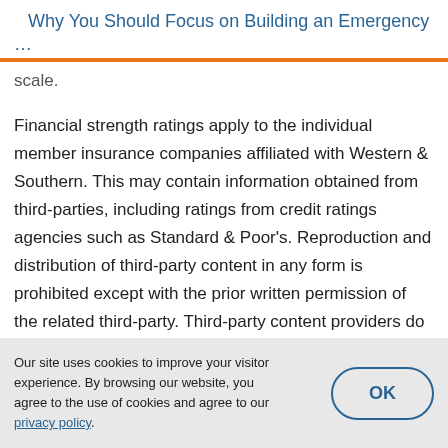Why You Should Focus on Building an Emergency …
scale.
Financial strength ratings apply to the individual member insurance companies affiliated with Western & Southern. This may contain information obtained from third-parties, including ratings from credit ratings agencies such as Standard & Poor's. Reproduction and distribution of third-party content in any form is prohibited except with the prior written permission of the related third-party. Third-party content providers do not guarantee the accuracy, completeness, timeliness or
Our site uses cookies to improve your visitor experience. By browsing our website, you agree to the use of cookies and agree to our privacy policy.